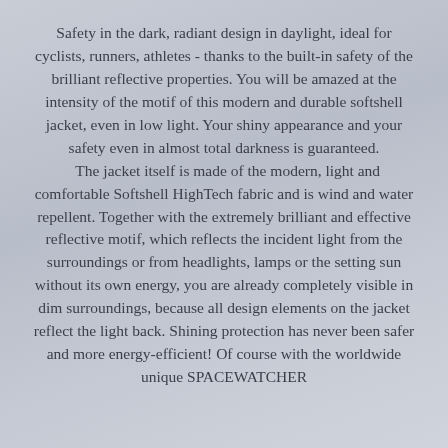Safety in the dark, radiant design in daylight, ideal for cyclists, runners, athletes - thanks to the built-in safety of the brilliant reflective properties. You will be amazed at the intensity of the motif of this modern and durable softshell jacket, even in low light. Your shiny appearance and your safety even in almost total darkness is guaranteed. The jacket itself is made of the modern, light and comfortable Softshell HighTech fabric and is wind and water repellent. Together with the extremely brilliant and effective reflective motif, which reflects the incident light from the surroundings or from headlights, lamps or the setting sun without its own energy, you are already completely visible in dim surroundings, because all design elements on the jacket reflect the light back. Shining protection has never been safer and more energy-efficient! Of course with the worldwide unique SPACEWATCHER